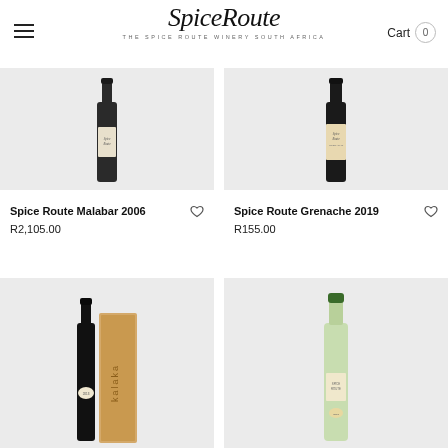SpiceRoute THE SPICE ROUTE WINERY SOUTH AFRICA | Cart 0
[Figure (photo): Wine bottle for Spice Route Malabar 2006 on grey background]
Spice Route Malabar 2006
R2,105.00
[Figure (photo): Wine bottle for Spice Route Grenache 2019 on grey background]
Spice Route Grenache 2019
R155.00
[Figure (photo): Wine bottle with wooden box (Kalaka) on grey background]
[Figure (photo): Green-top wine bottle on grey background]